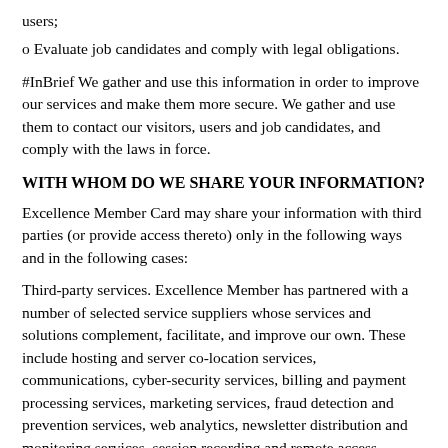users;
o Evaluate job candidates and comply with legal obligations.
#InBrief We gather and use this information in order to improve our services and make them more secure. We gather and use them to contact our visitors, users and job candidates, and comply with the laws in force.
WITH WHOM DO WE SHARE YOUR INFORMATION?
Excellence Member Card may share your information with third parties (or provide access thereto) only in the following ways and in the following cases:
Third-party services. Excellence Member has partnered with a number of selected service suppliers whose services and solutions complement, facilitate, and improve our own. These include hosting and server co-location services, communications, cyber-security services, billing and payment processing services, marketing services, fraud detection and prevention services, web analytics, newsletter distribution and monitoring services, session recording and remote access services, content providers and our legal and financial advisors. These third-party services may receive or otherwise have access to the Personal Information of our users, in its entirety or in part, depending on each of their specific roles